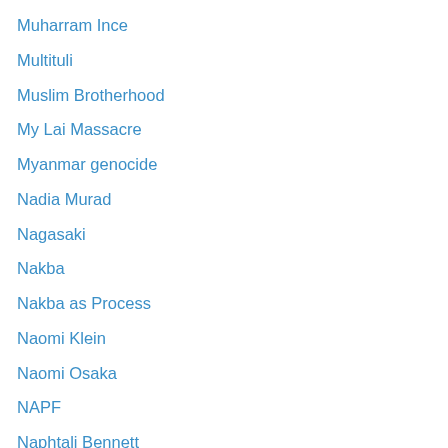Muharram Ince
Multituli
Muslim Brotherhood
My Lai Massacre
Myanmar genocide
Nadia Murad
Nagasaki
Nakba
Nakba as Process
Naomi Klein
Naomi Osaka
NAPF
Naphtali Bennett
Narendra Modi
Nasser
Natanz Facility
national interest
national liberation
National Review
National Security